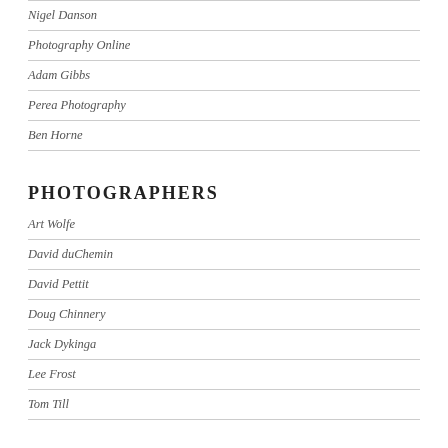Nigel Danson
Photography Online
Adam Gibbs
Perea Photography
Ben Horne
PHOTOGRAPHERS
Art Wolfe
David duChemin
David Pettit
Doug Chinnery
Jack Dykinga
Lee Frost
Tom Till